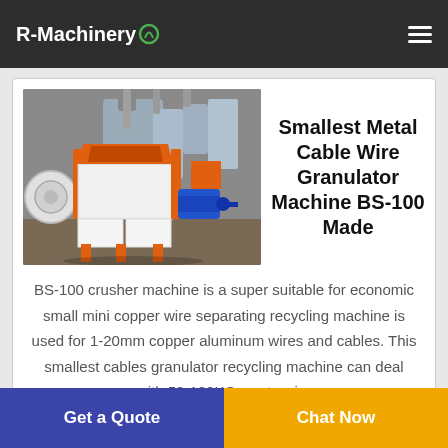R-Machinery
[Figure (photo): Industrial metal cable wire granulator machine BS-100 with orange frame, white body, and blue motor, in a factory setting]
Smallest Metal Cable Wire Granulator Machine BS-100 Made
BS-100 crusher machine is a super suitable for economic small mini copper wire separating recycling machine is used for 1-20mm copper aluminum wires and cables. This smallest cables granulator recycling machine can deal with 50-100KG waste wire